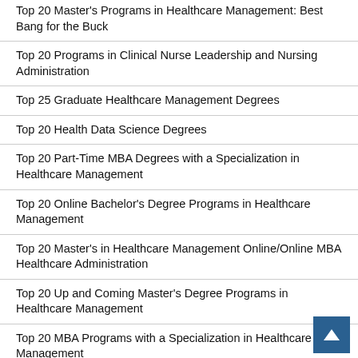Top 20 Master's Programs in Healthcare Management: Best Bang for the Buck
Top 20 Programs in Clinical Nurse Leadership and Nursing Administration
Top 25 Graduate Healthcare Management Degrees
Top 20 Health Data Science Degrees
Top 20 Part-Time MBA Degrees with a Specialization in Healthcare Management
Top 20 Online Bachelor's Degree Programs in Healthcare Management
Top 20 Master's in Healthcare Management Online/Online MBA Healthcare Administration
Top 20 Up and Coming Master's Degree Programs in Healthcare Management
Top 20 MBA Programs with a Specialization in Healthcare Management